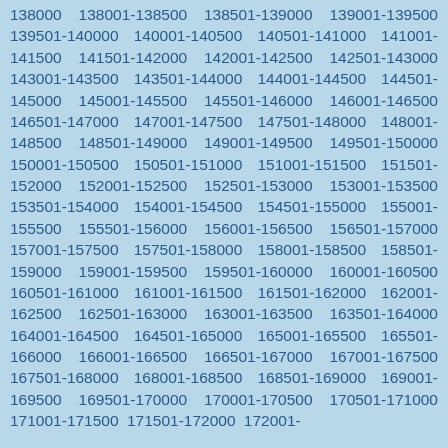138000 138001-138500 138501-139000 139001-139500 139501-140000 140001-140500 140501-141000 141001-141500 141501-142000 142001-142500 142501-143000 143001-143500 143501-144000 144001-144500 144501-145000 145001-145500 145501-146000 146001-146500 146501-147000 147001-147500 147501-148000 148001-148500 148501-149000 149001-149500 149501-150000 150001-150500 150501-151000 151001-151500 151501-152000 152001-152500 152501-153000 153001-153500 153501-154000 154001-154500 154501-155000 155001-155500 155501-156000 156001-156500 156501-157000 157001-157500 157501-158000 158001-158500 158501-159000 159001-159500 159501-160000 160001-160500 160501-161000 161001-161500 161501-162000 162001-162500 162501-163000 163001-163500 163501-164000 164001-164500 164501-165000 165001-165500 165501-166000 166001-166500 166501-167000 167001-167500 167501-168000 168001-168500 168501-169000 169001-169500 169501-170000 170001-170500 170501-171000 171001-171500 171501-172000 172001-